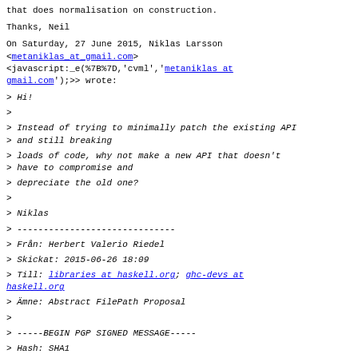that does normalisation on construction.
Thanks, Neil
On Saturday, 27 June 2015, Niklas Larsson <metaniklas_at_gmail.com> <javascript:_e(%7B%7D,'cvml','metaniklas at gmail.com');>> wrote:
> Hi!
>
> Instead of trying to minimally patch the existing API and still breaking
> loads of code, why not make a new API that doesn't have to compromise and
> depreciate the old one?
>
> Niklas
> ------------------------------
> Från: Herbert Valerio Riedel
> Skickat: 2015-06-26 18:09
> Till: libraries at haskell.org; ghc-devs at haskell.org
> Ämne: Abstract FilePath Proposal
>
> -----BEGIN PGP SIGNED MESSAGE-----
> Hash: SHA1
>
> Hello *,
>